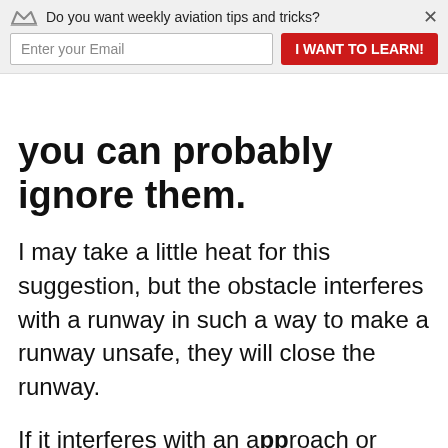Do you want weekly aviation tips and tricks? | Enter your Email | I WANT TO LEARN!
you can probably ignore them.
I may take a little heat for this suggestion, but the obstacle interferes with a runway in such a way to make a runway unsafe, they will close the runway.
If it interferes with an approach or departure, they will change the climb gradients for takeoff or the minimums for instrument